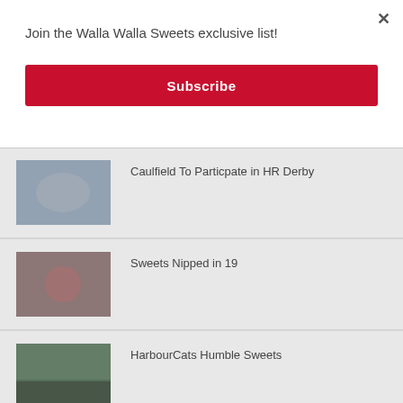Join the Walla Walla Sweets exclusive list!
Subscribe
Caulfield To Particpate in HR Derby
Sweets Nipped in 19
HarbourCats Humble Sweets
Sweets Land Four on WCL South All-Star Team